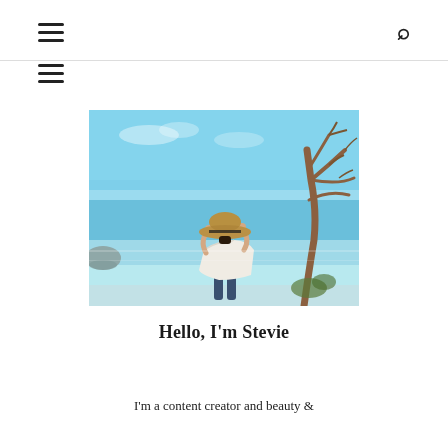☰  🔍
[Figure (photo): A woman standing at a tropical beach, wearing a wide-brim hat and white top, with her back to the camera. A bare tree is on the right side, and the sky is clear blue with calm turquoise sea water.]
Hello, I'm Stevie
I'm a content creator and beauty &